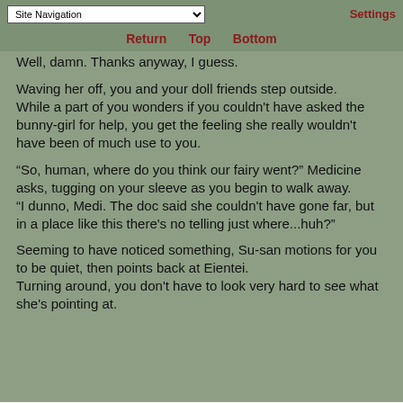Site Navigation | Settings
Return  Top  Bottom
Well, damn. Thanks anyway, I guess.
Waving her off, you and your doll friends step outside.
While a part of you wonders if you couldn't have asked the bunny-girl for help, you get the feeling she really wouldn't have been of much use to you.
“So, human, where do you think our fairy went?” Medicine asks, tugging on your sleeve as you begin to walk away.
“I dunno, Medi. The doc said she couldn't have gone far, but in a place like this there's no telling just where...huh?”
Seeming to have noticed something, Su-san motions for you to be quiet, then points back at Eientei.
Turning around, you don't have to look very hard to see what she's pointing at.